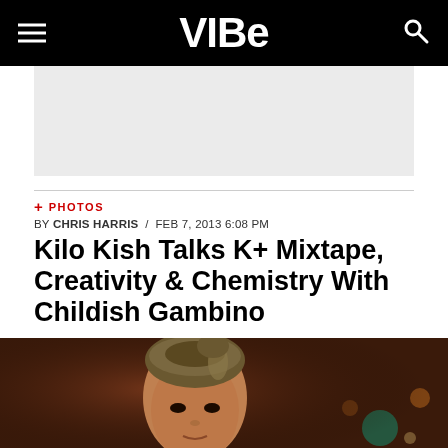VIBE
[Figure (photo): Gray advertisement placeholder block]
+ PHOTOS
BY CHRIS HARRIS / FEB 7, 2013 6:08 PM
Kilo Kish Talks K+ Mixtape, Creativity & Chemistry With Childish Gambino
[Figure (photo): Close-up photo of Kilo Kish, a young woman wearing a patterned head wrap, with bokeh lights in the background]